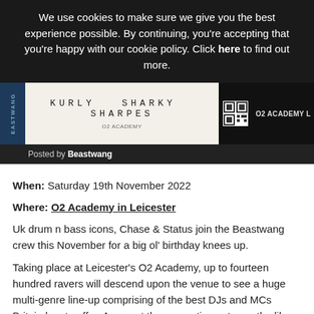We use cookies to make sure we give you the best experience possible. By continuing, you're accepting that you're happy with our cookie policy. Click here to find out more.
[Figure (photo): A concert ticket showing names KURLY SHARKY SHARPES with a QR code and O2 ACADEMY L text on the right, with a dark background and a Beastwang logo/stamp overlay at the bottom left.]
Posted by Beastwang
When: Saturday 19th November 2022
Where: O2 Academy in Leicester
Uk drum n bass icons, Chase & Status join the Beastwang crew this November for a big ol' birthday knees up.
Taking place at Leicester's O2 Academy, up to fourteen hundred ravers will descend upon the venue to see a huge multi-genre line-up comprising of the best DJs and MCs Britain has to offer. Amongst the supporting acts are the likes of Bou, Alcemist, Girls Don't Sync, Sammy Virji and many